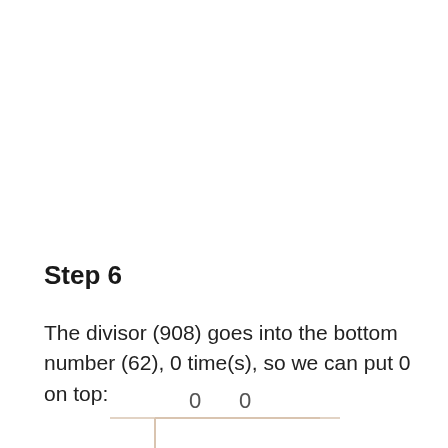Step 6
The divisor (908) goes into the bottom number (62), 0 time(s), so we can put 0 on top:
[Figure (math-figure): Long division display showing quotient digits '0  0' above a division bracket line]